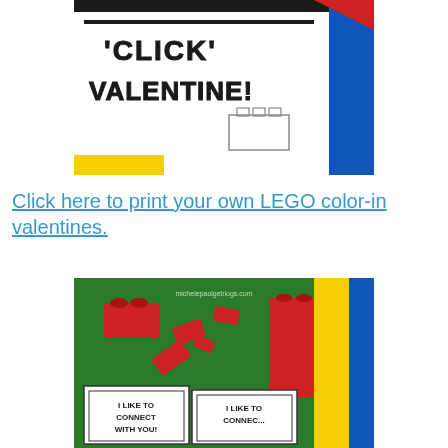[Figure (photo): Close-up photo of a LEGO-themed valentine card reading 'CLICK VALENTINE!' in bold block letters, with a sketched LEGO brick in the corner, surrounded by colorful LEGO bricks (yellow, blue, red) on a black and white card background.]
Click here to print your own LEGO color-in valentines.
[Figure (photo): Photo of red LEGO bricks scattered on a colorful background of green, yellow, blue LEGO base plates, with two white valentine cards reading 'I LIKE TO CONNECT WITH YOU!' partially visible, watermarked with michelepaolgeblogs.com]